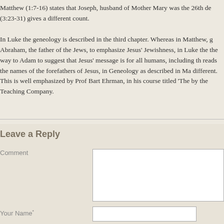Matthew (1:7-16) states that Joseph, husband of Mother Mary was the 26th de (3:23-31) gives a different count.

In Luke the geneology is described in the third chapter. Whereas in Matthew, g Abraham, the father of the Jews, to emphasize Jesus' Jewishness, in Luke the the way to Adam to suggest that Jesus' message is for all humans, including th reads the names of the forefathers of Jesus, in Geneology as described in Ma different. This is well emphasized by Prof Bart Ehrman, in his course titled 'The by the Teaching Company.
Reply
Leave a Reply
Comment
Your Name*
Email Address*